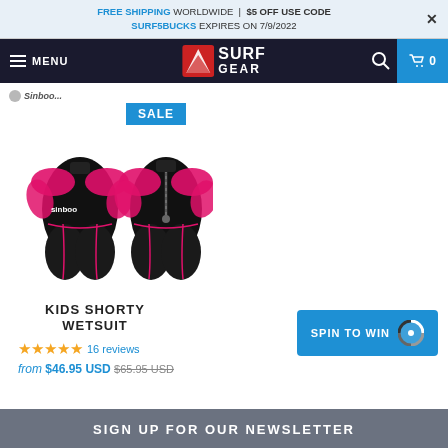FREE SHIPPING WORLDWIDE | $5 OFF USE CODE SURF5BUCKS EXPIRES ON 7/9/2022
MENU | SURF GEAR | 0
[Figure (photo): Kids shorty wetsuit product photo showing front and back views, black with pink accents, SALE badge overlay, Sinboo brand logo]
KIDS SHORTY WETSUIT
★★★★★ 16 reviews
from $46.95 USD $65.95 USD
SPIN TO WIN
SIGN UP FOR OUR NEWSLETTER